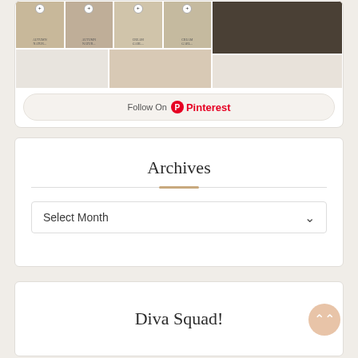[Figure (screenshot): Pinterest widget showing a grid of home decor images (wreaths, interiors) with a 'Follow On Pinterest' button at the bottom]
Archives
Select Month
Diva Squad!